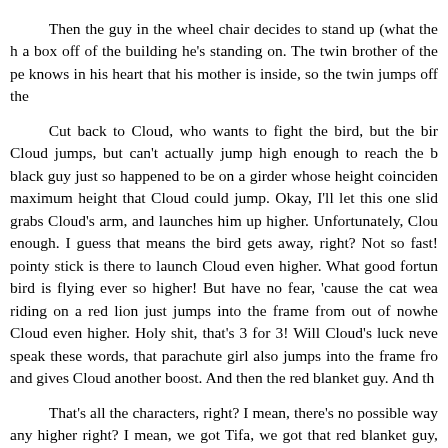Then the guy in the wheel chair decides to stand up (what the h a box off of the building he's standing on. The twin brother of the pe knows in his heart that his mother is inside, so the twin jumps off the
Cut back to Cloud, who wants to fight the bird, but the bir Cloud jumps, but can't actually jump high enough to reach the b black guy just so happened to be on a girder whose height coinciden maximum height that Cloud could jump. Okay, I'll let this one slid grabs Cloud's arm, and launches him up higher. Unfortunately, Clou enough. I guess that means the bird gets away, right? Not so fast! pointy stick is there to launch Cloud even higher. What good fortun bird is flying ever so higher! But have no fear, 'cause the cat wea riding on a red lion just jumps into the frame from out of nowhe Cloud even higher. Holy shit, that's 3 for 3! Will Cloud's luck neve speak these words, that parachute girl also jumps into the frame fro and gives Cloud another boost. And then the red blanket guy. And th
That's all the characters, right? I mean, there's no possible way any higher right? I mean, we got Tifa, we got that red blanket guy, the lion, we got the black guy, the guy with the stick, the parachute g guy with the red blanket already? Yeah, I did. So that's everyone. Bu not high enough. How the hell can the screenplay writers get them one?
Remember that girl from an alternate dimension that cloud